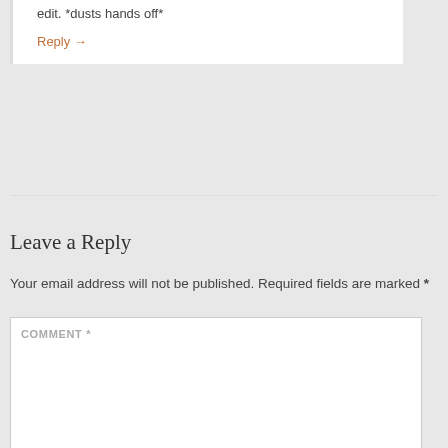edit. *dusts hands off*
Reply →
Leave a Reply
Your email address will not be published. Required fields are marked *
COMMENT *